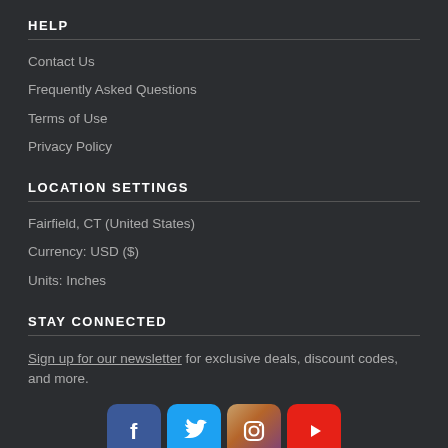HELP
Contact Us
Frequently Asked Questions
Terms of Use
Privacy Policy
LOCATION SETTINGS
Fairfield, CT (United States)
Currency: USD ($)
Units: Inches
STAY CONNECTED
Sign up for our newsletter for exclusive deals, discount codes, and more.
[Figure (illustration): Social media icons: Facebook, Twitter, Instagram, YouTube]